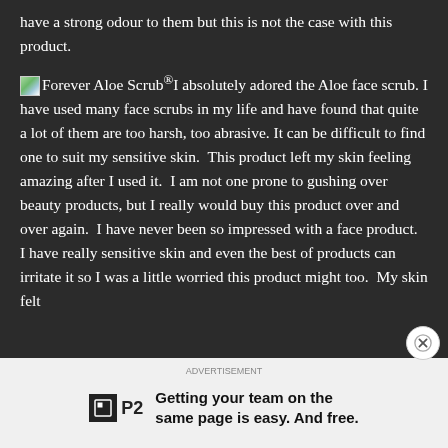have a strong odour to them but this is not the case with this product.
Forever Aloe Scrub® I absolutely adored the Aloe face scrub. I have used many face scrubs in my life and have found that quite a lot of them are too harsh, too abrasive. It can be difficult to find one to suit my sensitive skin. This product left my skin feeling amazing after I used it. I am not one prone to gushing over beauty products, but I really would buy this product over and over again. I have never been so impressed with a face product. I have really sensitive skin and even the best of products can irritate it so I was a little worried this product might too. My skin felt
[Figure (infographic): P2 advertisement banner: P2 logo with text 'Getting your team on the same page is easy. And free.']